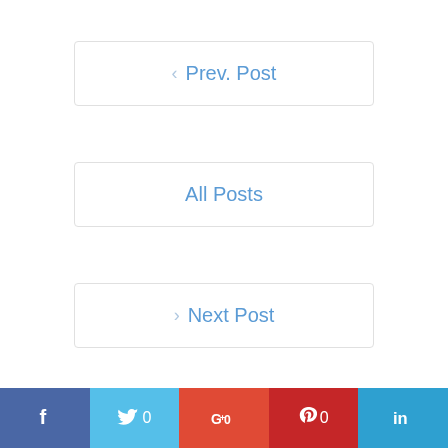< Prev. Post
All Posts
> Next Post
f | Twitter 0 | G+0 | Pinterest 0 | in